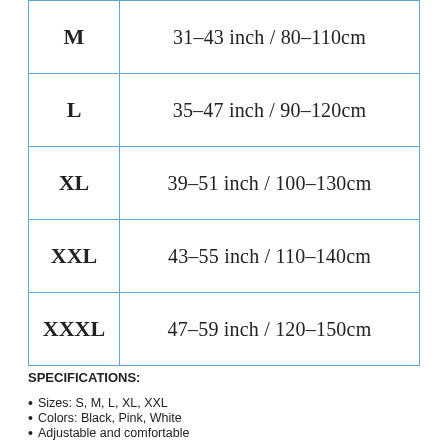| Size | Range |
| --- | --- |
| M | 31–43 inch / 80–110cm |
| L | 35–47 inch / 90–120cm |
| XL | 39–51 inch / 100–130cm |
| XXL | 43–55 inch / 110–140cm |
| XXXL | 47–59 inch / 120–150cm |
SPECIFICATIONS:
Sizes: S, M, L, XL, XXL
Colors: Black, Pink, White
Adjustable and comfortable